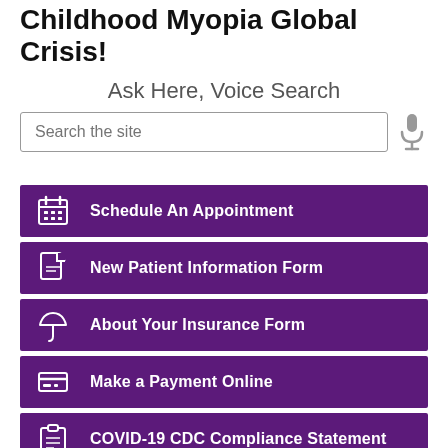Childhood Myopia Global Crisis!
Ask Here, Voice Search
Schedule An Appointment
New Patient Information Form
About Your Insurance Form
Make a Payment Online
COVID-19 CDC Compliance Statement